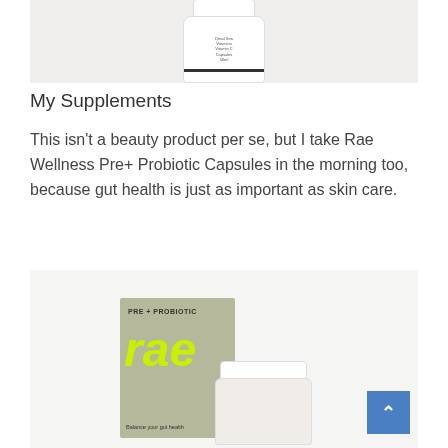[Figure (photo): White supplement or skincare product bottle on a light beige/white surface, top portion cropped]
My Supplements
This isn’t a beauty product per se, but I take Rae Wellness Pre+ Probiotic Capsules in the morning too, because gut health is just as important as skin care.
[Figure (photo): Rae Wellness Pre + Probiotic product box (sage green with bright yellow-green rae logo) next to a white jar of capsules, on a light background. A blue back-to-top button is visible in the bottom right corner.]